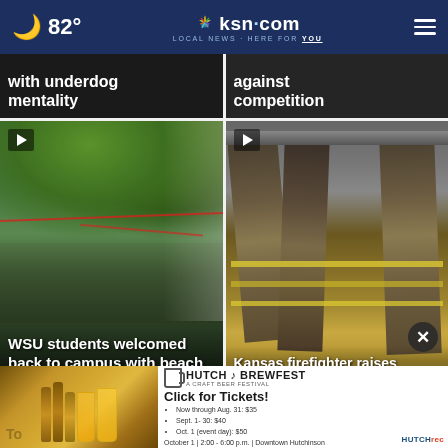82° ksn.com LOCAL NEWS · HERE FOR YOU
with underdog mentality
against competition
[Figure (screenshot): Video thumbnail of outdoor campus scene with students at a beach party, WSU]
WSU students welcomed back to campus with beach party
[Figure (photo): Firefighter gear/jackets hanging on a wall]
Kansas firefighter raises concern over PFAS in gear
[Figure (other): Hutch Brewfest advertisement banner - Click for Tickets! Now through Aug. 31: $35, Sept. 1-30: $40, Oct. 1 (event day): $50. October 1 | 2:00 - 6:00 p.m. | Downtown Hutchinson]